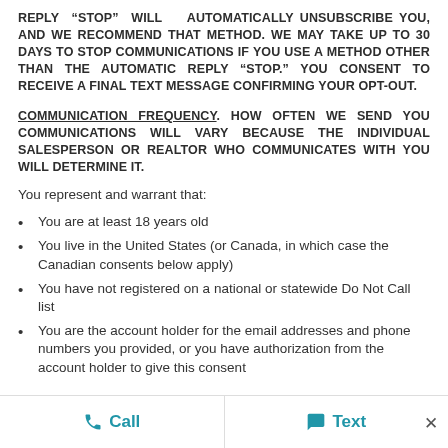REPLY “STOP” WILL AUTOMATICALLY UNSUBSCRIBE YOU, AND WE RECOMMEND THAT METHOD. WE MAY TAKE UP TO 30 DAYS TO STOP COMMUNICATIONS IF YOU USE A METHOD OTHER THAN THE AUTOMATIC REPLY “STOP.” YOU CONSENT TO RECEIVE A FINAL TEXT MESSAGE CONFIRMING YOUR OPT-OUT.
COMMUNICATION FREQUENCY. HOW OFTEN WE SEND YOU COMMUNICATIONS WILL VARY BECAUSE THE INDIVIDUAL SALESPERSON OR REALTOR WHO COMMUNICATES WITH YOU WILL DETERMINE IT.
You represent and warrant that:
You are at least 18 years old
You live in the United States (or Canada, in which case the Canadian consents below apply)
You have not registered on a national or statewide Do Not Call list
You are the account holder for the email addresses and phone numbers you provided, or you have authorization from the account holder to give this consent
Call   Text